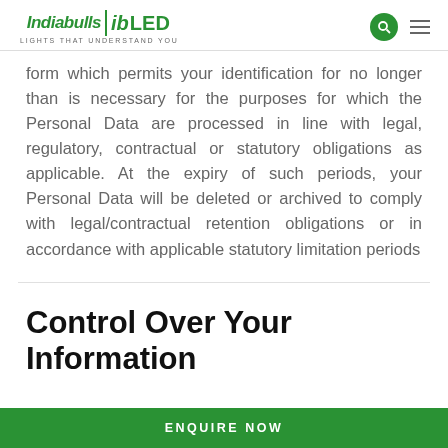Indiabulls | ib LED — LIGHTS THAT UNDERSTAND YOU
form which permits your identification for no longer than is necessary for the purposes for which the Personal Data are processed in line with legal, regulatory, contractual or statutory obligations as applicable. At the expiry of such periods, your Personal Data will be deleted or archived to comply with legal/contractual retention obligations or in accordance with applicable statutory limitation periods
Control Over Your Information
ENQUIRE NOW